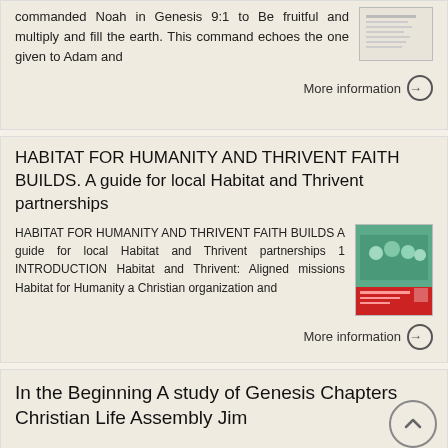commanded Noah in Genesis 9:1 to Be fruitful and multiply and fill the earth. This command echoes the one given to Adam and
More information →
HABITAT FOR HUMANITY AND THRIVENT FAITH BUILDS. A guide for local Habitat and Thrivent partnerships
HABITAT FOR HUMANITY AND THRIVENT FAITH BUILDS A guide for local Habitat and Thrivent partnerships 1 INTRODUCTION Habitat and Thrivent: Aligned missions Habitat for Humanity a Christian organization and
More information →
In the Beginning A study of Genesis Chapters Christian Life Assembly Jim